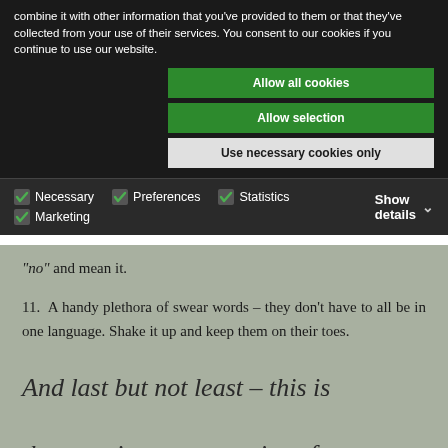combine it with other information that you've provided to them or that they've collected from your use of their services. You consent to our cookies if you continue to use our website.
[Figure (screenshot): Cookie consent banner with Allow all cookies, Allow selection, and Use necessary cookies only buttons, and checkboxes for Necessary, Preferences, Statistics, Marketing with Show details option]
“no” and mean it.
11. A handy plethora of swear words – they don’t have to all be in one language. Shake it up and keep them on their toes.
And last but not least – this is the most important saviour for